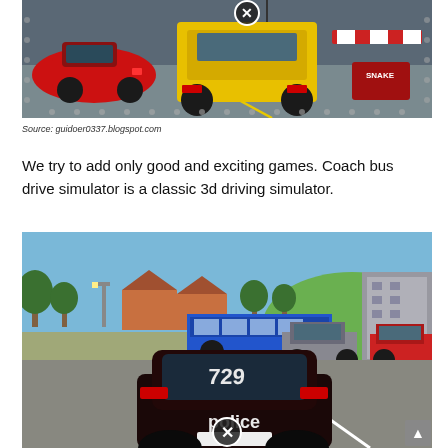[Figure (screenshot): Screenshot of a driving video game showing a yellow Hummer SUV, a red sports car, and other vehicles on a city street. An X button overlay is visible at the top of the screen. A sign reading 'SNAKE' is visible in the lower right corner.]
Source: guidoer0337.blogspot.com
We try to add only good and exciting games. Coach bus drive simulator is a classic 3d driving simulator.
[Figure (screenshot): Screenshot of a driving video game showing a dark police car with '729' and 'police' text on its rear, driving on a road. In the background there is a blue bus, a red car, trees, and buildings. An X button overlay is at the bottom center.]